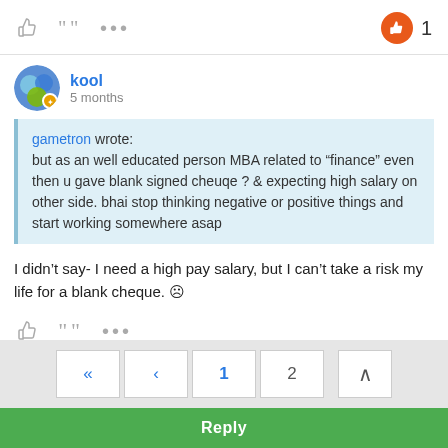[Figure (screenshot): Top action bar with thumbs up, quote, ellipsis icons on left, and orange like badge with count 1 on right]
[Figure (other): User avatar for kool]
kool
5 months
gametron wrote:
but as an well educated person MBA related to “finance” even then u gave blank signed cheuqe ? & expecting high salary on other side. bhai stop thinking negative or positive things and start working somewhere asap
I didn’t say- I need a high pay salary, but I can’t take a risk my life for a blank cheque. ☹
[Figure (screenshot): Bottom action bar with thumbs up, quote, ellipsis icons]
[Figure (screenshot): Pagination bar with buttons: « ‹ 1 2 and up arrow]
Reply